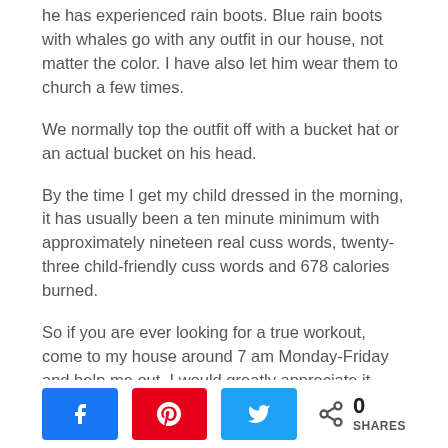he has experienced rain boots. Blue rain boots with whales go with any outfit in our house, not matter the color. I have also let him wear them to church a few times.
We normally top the outfit off with a bucket hat or an actual bucket on his head.
By the time I get my child dressed in the morning, it has usually been a ten minute minimum with approximately nineteen real cuss words, twenty-three child-friendly cuss words and 678 calories burned.
So if you are ever looking for a true workout, come to my house around 7 am Monday-Friday and help me out. I would greatly appreciate it.
Until Next Time,
[Figure (other): Social sharing buttons: Facebook (blue), Pinterest (red), Twitter (blue), and a share icon with 0 SHARES count]